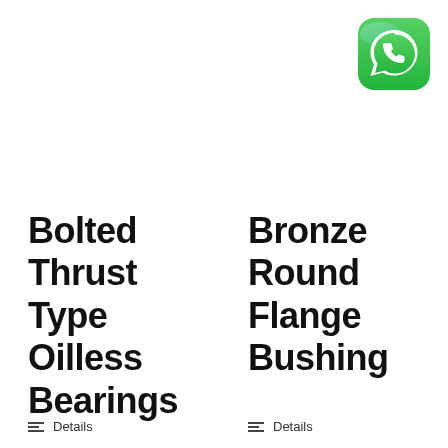[Figure (logo): WhatsApp app icon in top-right corner]
Bolted Thrust Type Oilless Bearings
Bronze Round Flange Bushing
Details
Details